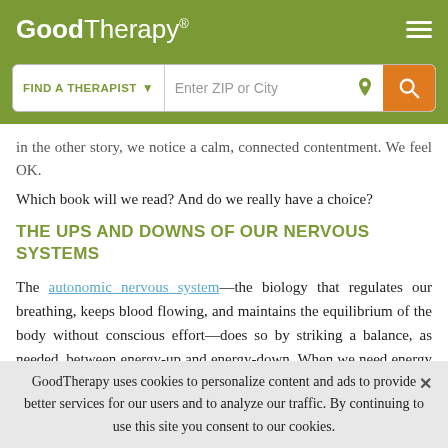GoodTherapy® [logo and navigation]
in the other story, we notice a calm, connected contentment. We feel OK.
Which book will we read? And do we really have a choice?
THE UPS AND DOWNS OF OUR NERVOUS SYSTEMS
The autonomic nervous system—the biology that regulates our breathing, keeps blood flowing, and maintains the equilibrium of the body without conscious effort—does so by striking a balance, as needed, between energy-up and energy-down. When we need energy up (sometimes to
GoodTherapy uses cookies to personalize content and ads to provide better services for our users and to analyze our traffic. By continuing to use this site you consent to our cookies.